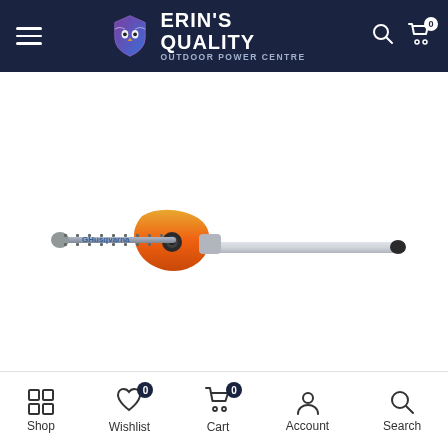Erin's Quality Outdoor Power Centre
Home > Husqvarna Pole Saw Attachment PAX730
[Figure (photo): Husqvarna Pole Saw Attachment PAX730 — a chainsaw head with orange and silver body, chainsaw bar labeled Husqvarna on the left, connected to a long silver pole extending to the right with a black end cap.]
Shop | Wishlist 0 | Cart 0 | Account | Search